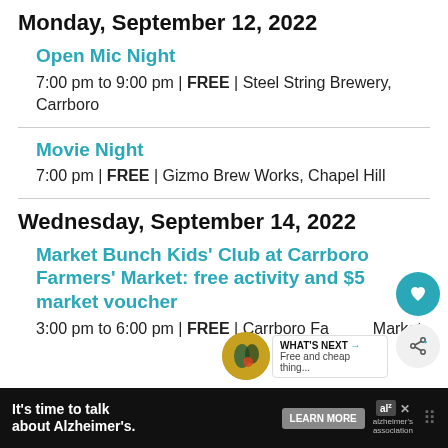Monday, September 12, 2022
Open Mic Night
7:00 pm to 9:00 pm | FREE | Steel String Brewery, Carrboro
Movie Night
7:00 pm | FREE | Gizmo Brew Works, Chapel Hill
Wednesday, September 14, 2022
Market Bunch Kids' Club at Carrboro Farmers' Market: free activity and $5 market voucher
3:00 pm to 6:00 pm | FREE | Carrboro Farmers' Market
WHAT'S NEXT → Free and cheap thing...
It's time to talk about Alzheimer's.